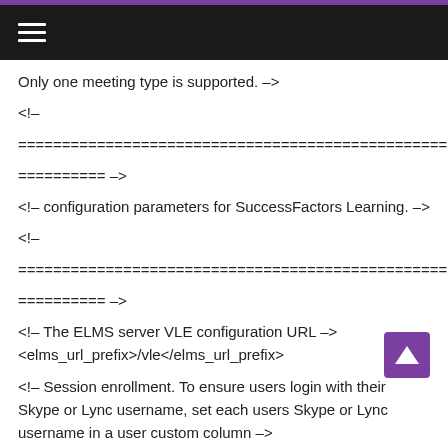≡
Only one meeting type is supported. –>
<!–
================================================== ========== –>
<!– configuration parameters for SuccessFactors Learning. –>
<!–
================================================== ========== –>
<!– The ELMS server VLE configuration URL –>
<elms_url_prefix>/vle</elms_url_prefix>
<!– Session enrollment. To ensure users login with their Skype or Lync username, set each users Skype or Lync username in a user custom column –>
<!– and set the custom column number below to